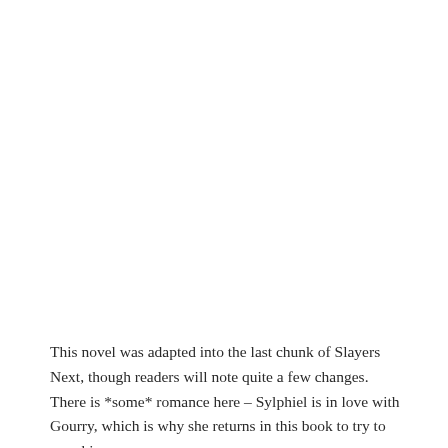This novel was adapted into the last chunk of Slayers Next, though readers will note quite a few changes. There is *some* romance here – Sylphiel is in love with Gourry, which is why she returns in this book to try to save him,